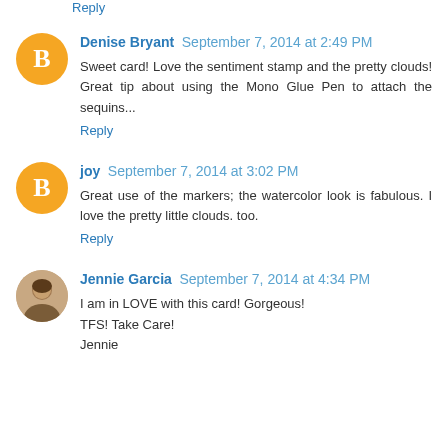Reply
Denise Bryant September 7, 2014 at 2:49 PM
Sweet card! Love the sentiment stamp and the pretty clouds! Great tip about using the Mono Glue Pen to attach the sequins...
Reply
joy September 7, 2014 at 3:02 PM
Great use of the markers; the watercolor look is fabulous. I love the pretty little clouds. too.
Reply
Jennie Garcia September 7, 2014 at 4:34 PM
I am in LOVE with this card! Gorgeous!
TFS! Take Care!
Jennie
Reply